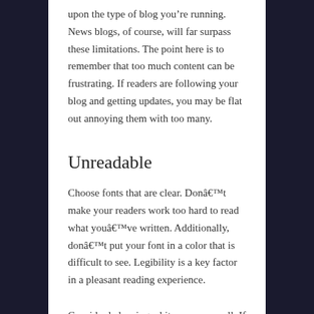upon the type of blog you’re running. News blogs, of course, will far surpass these limitations. The point here is to remember that too much content can be frustrating. If readers are following your blog and getting updates, you may be flat out annoying them with too many.
Unreadable
Choose fonts that are clear. Donât make your readers work too hard to read what youâve written. Additionally, donât put your font in a color that is difficult to see. Legibility is a key factor in a pleasant reading experience.
Consider balancing white space as well. If your paragraphs are too long, you can cause readers to lose interest. This goes for content that is too wide